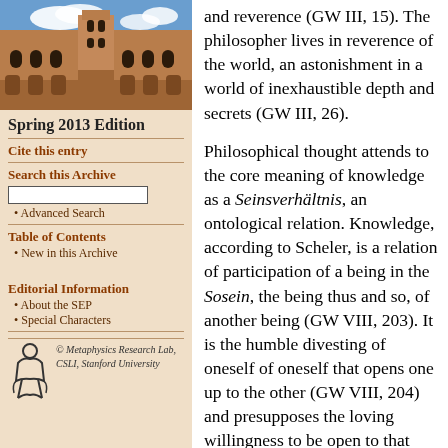[Figure (photo): Photograph of a historic university building (sandstone Gothic architecture) with blue sky and clouds]
Spring 2013 Edition
Cite this entry
Search this Archive
Advanced Search
Table of Contents
New in this Archive
Editorial Information
About the SEP
Special Characters
[Figure (logo): Metaphysics Research Lab logo — stylized figure symbol]
© Metaphysics Research Lab, CSLI, Stanford University
and reverence (GW III, 15). The philosopher lives in reverence of the world, an astonishment in a world of inexhaustible depth and secrets (GW III, 26).

Philosophical thought attends to the core meaning of knowledge as a Seinsverhältnis, an ontological relation. Knowledge, according to Scheler, is a relation of participation of a being in the Sosein, the being thus and so, of another being (GW VIII, 203). It is the humble divesting of oneself of oneself that opens one up to the other (GW VIII, 204) and presupposes the loving willingness to be open to that which is other.